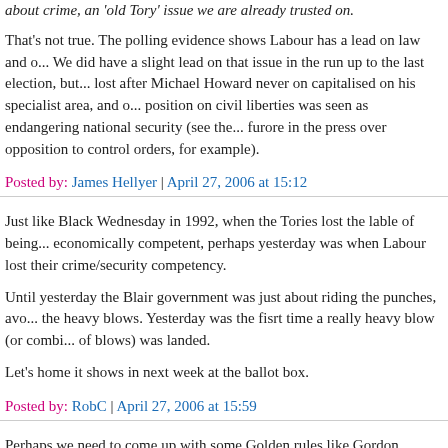about crime, an 'old Tory' issue we are already trusted on.
That's not true. The polling evidence shows Labour has a lead on law and o... We did have a slight lead on that issue in the run up to the last election, but... lost after Michael Howard never on capitalised on his specialist area, and o... position on civil liberties was seen as endangering national security (see the... furore in the press over opposition to control orders, for example).
Posted by: James Hellyer | April 27, 2006 at 15:12
Just like Black Wednesday in 1992, when the Tories lost the lable of being... economically competent, perhaps yesterday was when Labour lost their crime/security competency.
Until yesterday the Blair government was just about riding the punches, avo... the heavy blows. Yesterday was the fisrt time a really heavy blow (or combi... of blows) was landed.
Let's home it shows in next week at the ballot box.
Posted by: RobC | April 27, 2006 at 15:59
Perhaps we need to come up with some Golden rules like Gordon Brown di... How about prisoners to serve their full sentences for the first one!